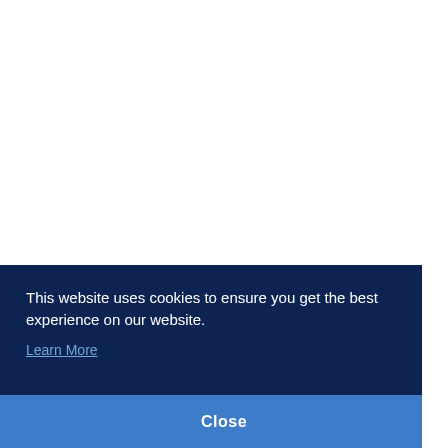This website uses cookies to ensure you get the best experience on our website.
Learn More
Close